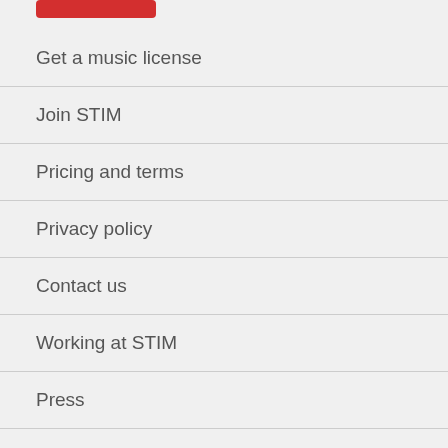[Figure (other): Red button/logo at the top]
Get a music license
Join STIM
Pricing and terms
Privacy policy
Contact us
Working at STIM
Press
Cookies
Search